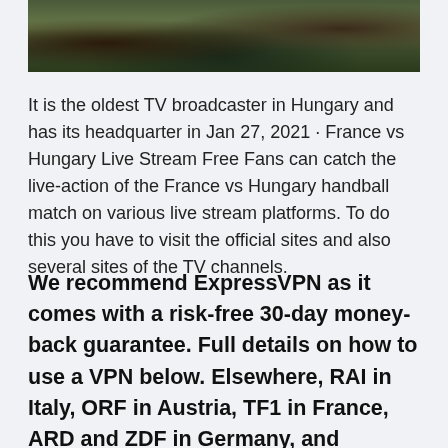[Figure (photo): Outdoor landscape photo showing trees and hillside with autumn foliage colors]
It is the oldest TV broadcaster in Hungary and has its headquarter in Jan 27, 2021 · France vs Hungary Live Stream Free Fans can catch the live-action of the France vs Hungary handball match on various live stream platforms. To do this you have to visit the official sites and also several sites of the TV channels.
We recommend ExpressVPN as it comes with a risk-free 30-day money-back guarantee. Full details on how to use a VPN below. Elsewhere, RAI in Italy, ORF in Austria, TF1 in France, ARD and ZDF in Germany, and Mediaset in Spain will be